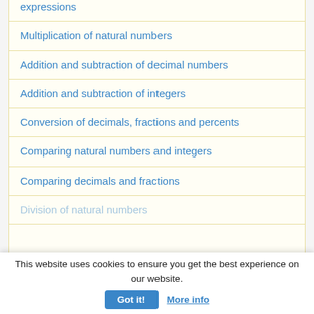expressions
Multiplication of natural numbers
Addition and subtraction of decimal numbers
Addition and subtraction of integers
Conversion of decimals, fractions and percents
Comparing natural numbers and integers
Comparing decimals and fractions
Division of natural numbers
This website uses cookies to ensure you get the best experience on our website.
Got it!   More info